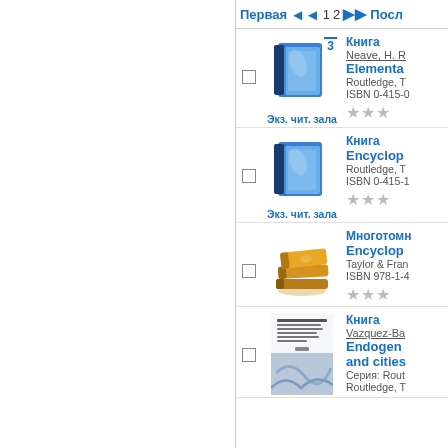Первая  ◄◄  1  2  ►► Посл
[Figure (illustration): Blue book icon with number 3 badge]
Экз. чит. зала
Книга
Neave, H. R.
Elementa
Routledge, T
ISBN 0-415-0
[Figure (illustration): Star rating: 3 grey stars]
[Figure (illustration): Blue book icon]
Экз. чит. зала
Книга
Encyclop
Routledge, T
ISBN 0-415-1
[Figure (illustration): Star rating: 3 grey stars]
[Figure (illustration): Brown/orange stacked books icon]
Многотомн
Encyclop
Taylor & Fran
ISBN 978-1-4
[Figure (illustration): Star rating: 3 grey stars]
[Figure (illustration): Book cover photo - Endogenous]
Книга
Vazquez-Ba
Endogen
and cities
Серия: Rout
Routledge, T